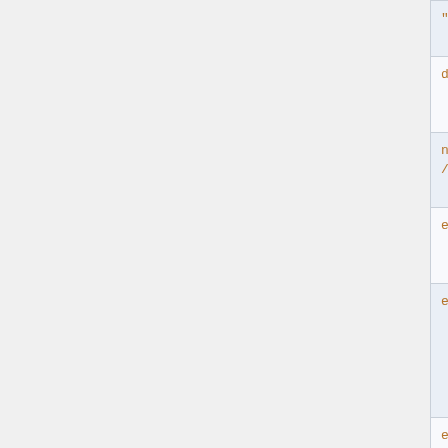| Attribute | Description |
| --- | --- |
| "name" | The name parameter |
| default="..." | Default value parameter missing |
| newline="<br />" | Convert newline textarea to delimiters |
| encode="off" | Turn off en... See import... security no... |
| encode="safe" | Encode sp... characters entities to ... exploits: "<... single quo... double quo... |
| encode="entity" | Encode sp... characters entities. Se... |